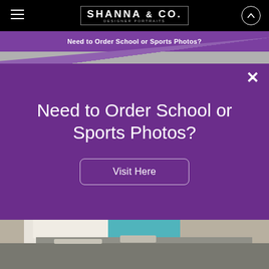SHANNA & CO. DESIGNER PORTRAITS
Need to Order School or Sports Photos?
Need to Order School or Sports Photos?
Visit Here
[Figure (photo): Close-up photo of what appears to be a desk or table surface with books and objects, teal/turquoise color visible, gray textured surface]